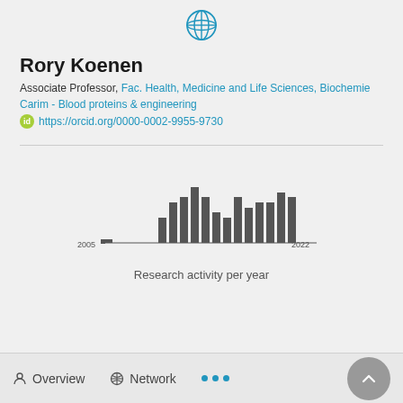[Figure (logo): Globe icon in teal/cyan color at top center]
Rory Koenen
Associate Professor, Fac. Health, Medicine and Life Sciences, Biochemie
Carim - Blood proteins & engineering
https://orcid.org/0000-0002-9955-9730
[Figure (bar-chart): Research activity per year]
Research activity per year
Overview   Network   ...